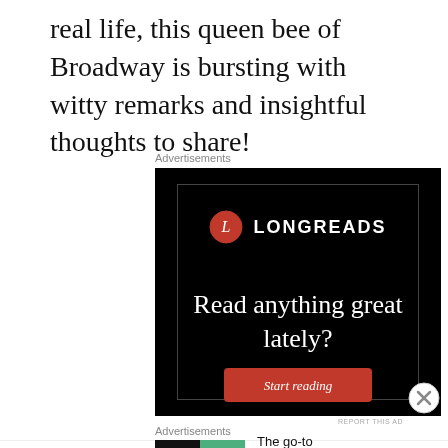real life, this queen bee of Broadway is bursting with witty remarks and insightful thoughts to share!
Advertisements
[Figure (other): Longreads advertisement banner on black background with logo, tagline 'Read anything great lately?' and red 'Start reading' button]
REPORT THIS AD
Advertisements
[Figure (other): Pocket Casts advertisement: colorful app icon, text 'The go-to app for podcast lovers.' with Pocket Casts logo]